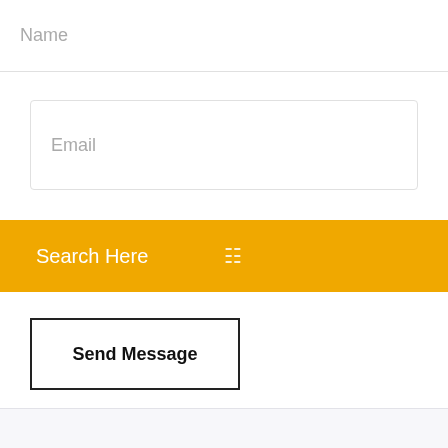Name
Email
Search Here
Send Message
Category
Life360 driver protect apk download